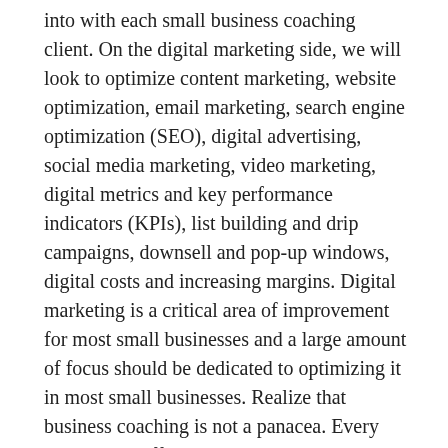into with each small business coaching client. On the digital marketing side, we will look to optimize content marketing, website optimization, email marketing, search engine optimization (SEO), digital advertising, social media marketing, video marketing, digital metrics and key performance indicators (KPIs), list building and drip campaigns, downsell and pop-up windows, digital costs and increasing margins. Digital marketing is a critical area of improvement for most small businesses and a large amount of focus should be dedicated to optimizing it in most small businesses. Realize that business coaching is not a panacea. Every business is different. Every community is different. Every business owner is different. Yet, business fundamentals don't change. There will still be challenges, difficulties, and frustrations. However, with the right business coach and implementation of business fundamentals, you will overcome and breakthrough these issues faster. These issues will